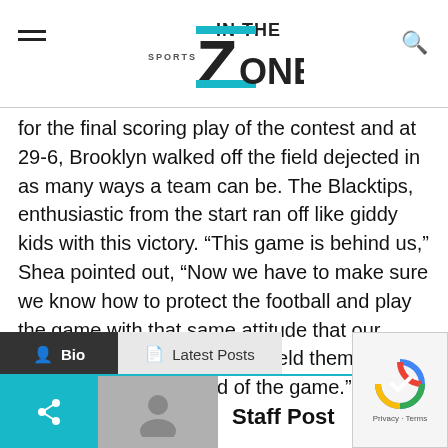IN THE ZONE
for the final scoring play of the contest and at 29-6, Brooklyn walked off the field dejected in as many ways a team can be. The Blacktips, enthusiastic from the start ran off like giddy kids with this victory. “This game is behind us,” Shea pointed out, “Now we have to make sure we know how to protect the football and play the game with that same attitude that our defense showed when they held them out of the end zone at the end of the game.”
Bio
Latest Posts
Staff Post